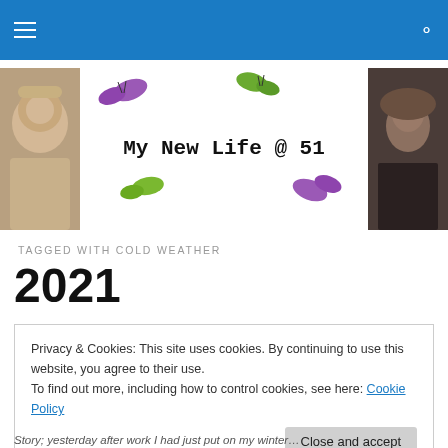Navigation bar with menu and search icons
[Figure (photo): Blog header banner for 'My New Life @ 51' with two photos (child on left, adult woman on right) and decorative butterflies around the blog title in typewriter font]
TAGGED WITH COLD WEATHER
2021
Privacy & Cookies: This site uses cookies. By continuing to use this website, you agree to their use. To find out more, including how to control cookies, see here: Cookie Policy
Close and accept
Story; yesterday after work I had just put on my winter…